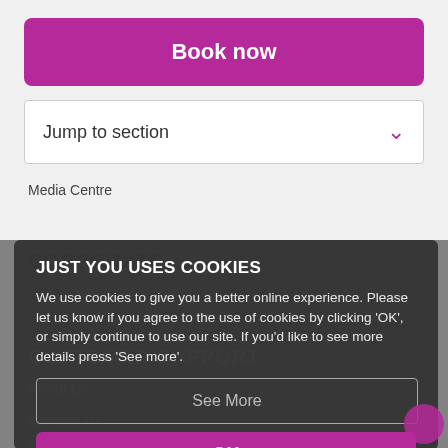[Figure (screenshot): Purple 'Book now' button]
[Figure (screenshot): Jump to section dropdown with purple chevron]
Media Centre
CORPORATE
CUSTOMER SUPPORT
About Us
Contact Us
Community
JUST YOU USES COOKIES
We use cookies to give you a better online experience. Please let us know if you agree to the use of cookies by clicking 'OK', or simply continue to use our site. If you'd like to see more details press 'See more'.
See More
OK